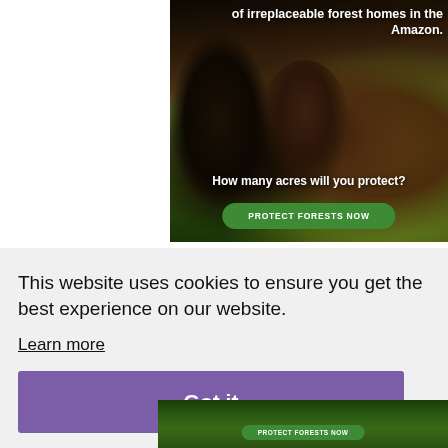[Figure (photo): Advertisement showing two monkeys (capuchins) in the Amazon forest on bamboo branches with green leaves. White bold text at top right reads 'of irreplaceable forest homes in the Amazon.' White bold text in middle reads 'How many acres will you protect?' Green rounded button reads 'PROTECT FORESTS NOW'.]
This website uses cookies to ensure you get the best experience on our website.
Learn more
Got it
[Figure (screenshot): Thumbnail of the forest advertisement at the bottom of the page showing a green forest background and 'PROTECT FORESTS NOW' button.]